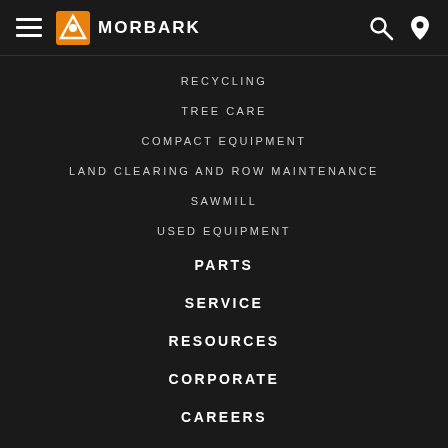MORBARK navigation header
RECYCLING
TREE CARE
COMPACT EQUIPMENT
LAND CLEARING AND ROW MAINTENANCE
SAWMILL
USED EQUIPMENT
PARTS
SERVICE
RESOURCES
CORPORATE
CAREERS
FIND A DEALER